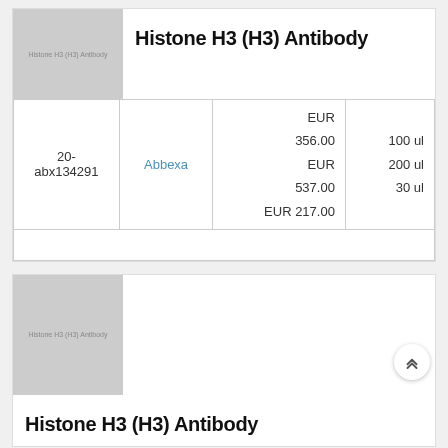[Figure (photo): Placeholder image for Histone H3 (H3) Antibody product, grey box with text label]
Histone H3 (H3) Antibody
| 20-abx134291 | Abbexa | EUR 356.00
EUR 537.00
EUR 217.00 | 100 ul
200 ul
30 ul |
[Figure (photo): Placeholder image for Histone H3 (H3) Antibody product, grey box with text label]
Histone H3 (H3) Antibody